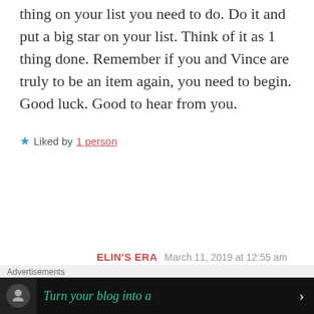thing on your list you need to do. Do it and put a big star on your list. Think of it as 1 thing done. Remember if you and Vince are truly to be an item again, you need to begin. Good luck. Good to hear from you.
★ Liked by 1 person
ELIN'S ERA  March 11, 2019 at 12:55 am
REPLY →
Advertisements
Turn your blog into a